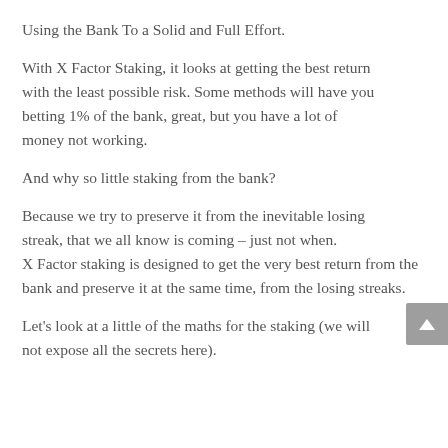Using the Bank To a Solid and Full Effort.
With X Factor Staking, it looks at getting the best return with the least possible risk. Some methods will have you betting 1% of the bank, great, but you have a lot of money not working.
And why so little staking from the bank?
Because we try to preserve it from the inevitable losing streak, that we all know is coming – just not when.
X Factor staking is designed to get the very best return from the bank and preserve it at the same time, from the losing streaks.
Let's look at a little of the maths for the staking (we will not expose all the secrets here).